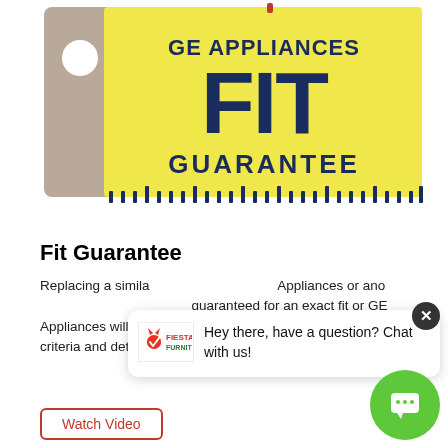[Figure (illustration): GE Appliances FIT Guarantee logo on a yellow price-tag shaped background with a tan/grey side tab containing a white circle hole, dark navy bold text reading 'GE APPLIANCES FIT GUARANTEE', and ruler tick marks along the bottom edge.]
Fit Guarantee
Replacing a similar size appliance? GE Appliances or another brand? GE Appliances is guaranteed for an exact fit or GE Appliances will pay up to $100 toward modifications. See offer criteria and details
[Figure (logo): Fiesta Furniture logo — small store/brand logo with a dog icon and text 'FIESTA FURNITURE' in red and green]
Hey there, have a question? Chat with us!